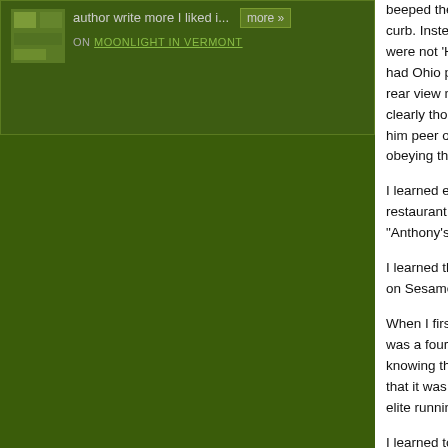author write more I liked i...
more »
ON MOONLIGHT IN VERMONT
beeped the horn to get her to pull to the curb. Instead, she were not 'Happy Bi had Ohio plates on rear view mirror to clearly thought I wa him peer over the s obeying the law is
I learned early on t restaurant Jimmy's "Anthony's," but "P
I learned there's a on Sesame Street.
When I first got her was a four-time wir knowing this fact, I that it was a major elite running world
I learned to put up and the oft-repeate corrected an Ohio-